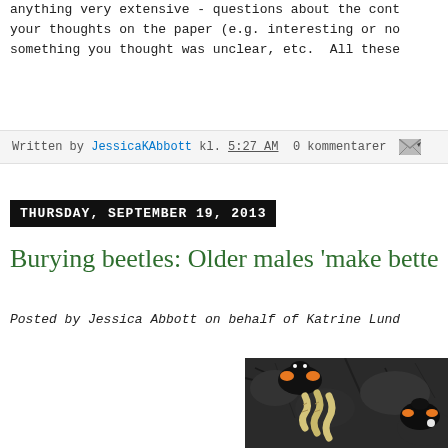anything very extensive - questions about the cont your thoughts on the paper (e.g. interesting or no something you thought was unclear, etc.  All these
Written by JessicaKAbbott kl. 5:27 AM  0 kommentarer
THURSDAY, SEPTEMBER 19, 2013
Burying beetles: Older males 'make bette
Posted by Jessica Abbott on behalf of Katrine Lund
[Figure (photo): Close-up photograph of burying beetles (black with orange/yellow markings) with larvae on dark soil background]